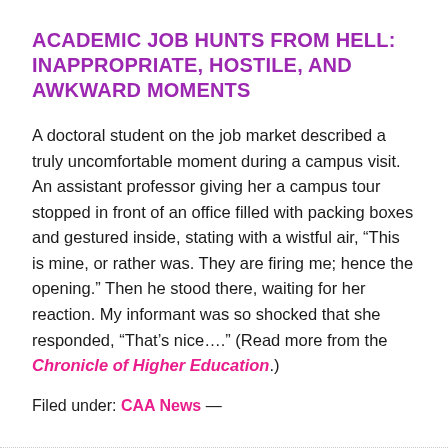ACADEMIC JOB HUNTS FROM HELL: INAPPROPRIATE, HOSTILE, AND AWKWARD MOMENTS
A doctoral student on the job market described a truly uncomfortable moment during a campus visit. An assistant professor giving her a campus tour stopped in front of an office filled with packing boxes and gestured inside, stating with a wistful air, “This is mine, or rather was. They are firing me; hence the opening.” Then he stood there, waiting for her reaction. My informant was so shocked that she responded, “That’s nice….” (Read more from the Chronicle of Higher Education.)
Filed under: CAA News —